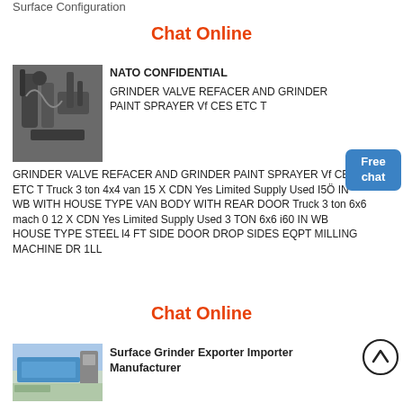Surface Configuration
Chat Online
[Figure (photo): Industrial machinery with pipes and metal components, dark grey tones]
NATO CONFIDENTIAL
GRINDER VALVE REFACER AND GRINDER PAINT SPRAYER Vf CES ETC T Truck 3 ton 4x4 van 15 X CDN Yes Limited Supply Used I5Ö IN WB WITH HOUSE TYPE VAN BODY WITH REAR DOOR Truck 3 ton 6x6 mach 0 12 X CDN Yes Limited Supply Used 3 TON 6x6 i60 IN WB HOUSE TYPE STEEL l4 FT SIDE DOOR DROP SIDES EQPT MILLING MACHINE DR 1LL
Chat Online
[Figure (photo): Industrial surface grinder machine outdoors with blue structure]
Surface Grinder Exporter Importer Manufacturer